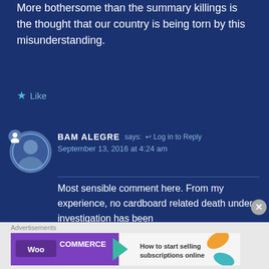More bothersome than the summary killings is the thought that our country is being torn by this misunderstanding.
★ Like
BAM ALEGRE says: ↩ Log in to Reply
September 13, 2016 at 4:24 am
Most sensible comment here. From my experience, no cardboard related death under investigation has been
[Figure (screenshot): WooCommerce advertisement banner: purple background with WooCommerce logo and text 'How to start selling subscriptions online' with colorful leaf decorations]
Advertisements